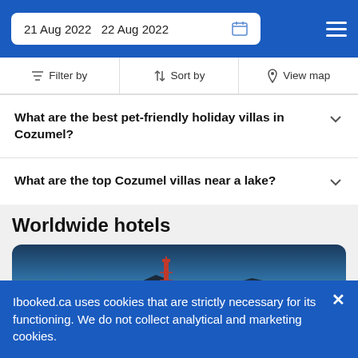21 Aug 2022  22 Aug 2022
Filter by  Sort by  View map
What are the best pet-friendly holiday villas in Cozumel?
What are the top Cozumel villas near a lake?
Worldwide hotels
[Figure (photo): City skyline at sunset with a tall tower and buildings against an orange/yellow sky]
Ibooked.ca uses cookies that are strictly necessary for its functioning. We do not collect analytical and marketing cookies.